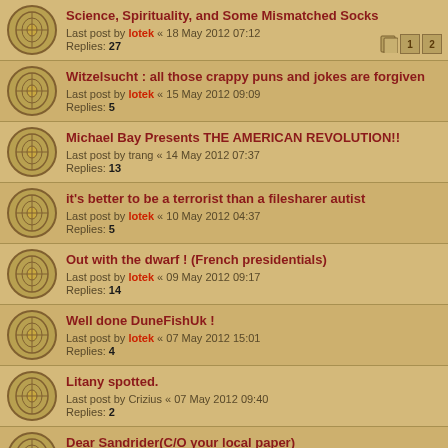Science, Spirituality, and Some Mismatched Socks
Last post by lotek « 18 May 2012 07:12
Replies: 27
Witzelsucht : all those crappy puns and jokes are forgiven
Last post by lotek « 15 May 2012 09:09
Replies: 5
Michael Bay Presents THE AMERICAN REVOLUTION!!
Last post by trang « 14 May 2012 07:37
Replies: 13
it's better to be a terrorist than a filesharer autist
Last post by lotek « 10 May 2012 04:37
Replies: 5
Out with the dwarf ! (French presidentials)
Last post by lotek « 09 May 2012 09:17
Replies: 14
Well done DuneFishUk !
Last post by lotek « 07 May 2012 15:01
Replies: 4
Litany spotted.
Last post by Crizius « 07 May 2012 09:40
Replies: 2
Dear Sandrider(C/O your local paper)
Last post by lotek « 25 Apr 2012 05:49
Replies: 20
Make DuneFishUk a Moderator
Last post by Omphalos « 19 Apr 2012 13:24
Replies: 9